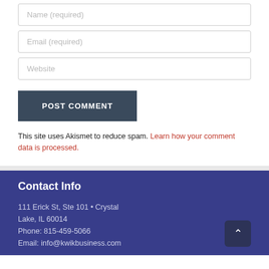Name (required)
Email (required)
Website
POST COMMENT
This site uses Akismet to reduce spam. Learn how your comment data is processed.
Contact Info
111 Erick St, Ste 101 • Crystal Lake, IL 60014
Phone: 815-459-5066
Email: info@kwikbusiness.com